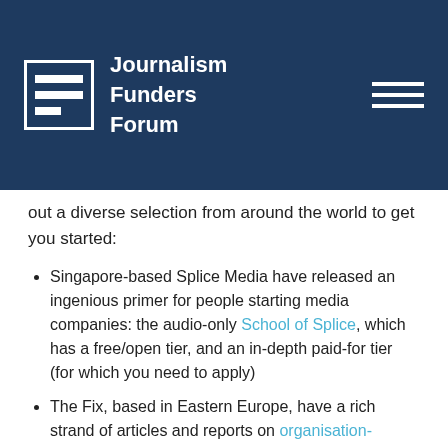Journalism Funders Forum
out a diverse selection from around the world to get you started:
Singapore-based Splice Media have released an ingenious primer for people starting media companies: the audio-only School of Splice, which has a free/open tier, and an in-depth paid-for tier (for which you need to apply)
The Fix, based in Eastern Europe, have a rich strand of articles and reports on organisation-building in the media sector, including a recent focus on human resources (one of the unsexy and underfunded areas we've talked about before)
444.hu's Peter Erdelyi wrote a paper on a Fellowship at the Reuters Institute on "how to get readers in Central and"